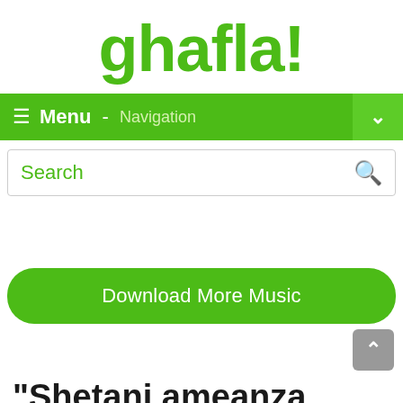ghafla!
Menu - Navigation
[Figure (screenshot): Search box with placeholder text 'Search' and a green magnifying glass icon]
Download More Music
“Shetani ameanza